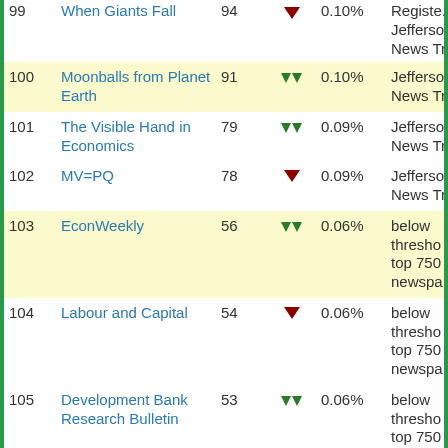| Rank | Title | Score | Trend | Pct | Source |
| --- | --- | --- | --- | --- | --- |
| 99 | When Giants Fall | 94 | ▼ | 0.10% | Jefferson News Tri... |
| 100 | Moonballs from Planet Earth | 91 | ▲▲ | 0.10% | Jefferson News Tri... |
| 101 | The Visible Hand in Economics | 79 | ▲▲ | 0.09% | Jefferson News Tri... |
| 102 | MV=PQ | 78 | ▼ | 0.09% | Jefferson News Tri... |
| 103 | EconWeekly | 56 | ▲▲ | 0.06% | below threshold top 750 newspa... |
| 104 | Labour and Capital | 54 | ▼ | 0.06% | below threshold top 750 newspa... |
| 105 | Development Bank Research Bulletin | 53 | ▲▲ | 0.06% | below threshold top 750 newspa... |
| 106 | Blue Matter | 51 | ▲▲ | 0.06% | below threshold... |